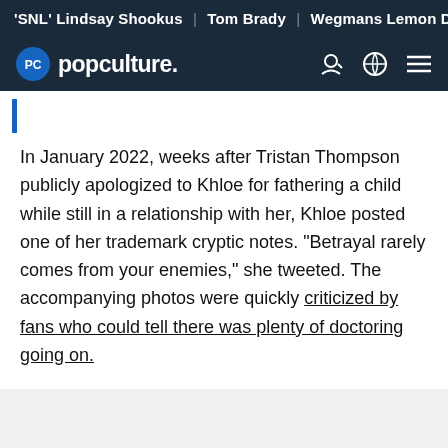'SNL' Lindsay Shookus | Tom Brady | Wegmans Lemon Dill Fi
[Figure (logo): Popculture.com logo with PC badge icon and navigation icons on dark navy background]
In January 2022, weeks after Tristan Thompson publicly apologized to Khloe for fathering a child while still in a relationship with her, Khloe posted one of her trademark cryptic notes. "Betrayal rarely comes from your enemies," she tweeted. The accompanying photos were quickly criticized by fans who could tell there was plenty of doctoring going on.